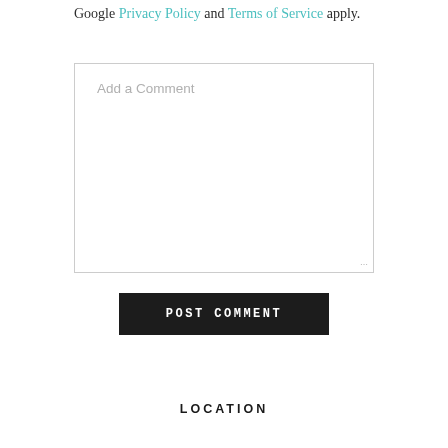Google Privacy Policy and Terms of Service apply.
[Figure (other): Large text input textarea with placeholder text 'Add a Comment' and a resize handle in the bottom-right corner]
POST COMMENT
LOCATION